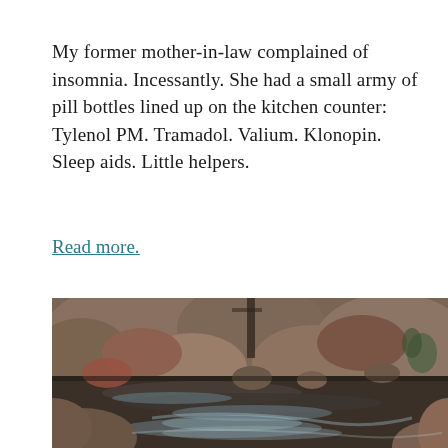My former mother-in-law complained of insomnia. Incessantly. She had a small army of pill bottles lined up on the kitchen counter: Tylenol PM. Tramadol. Valium. Klonopin. Sleep aids. Little helpers.
Read more.
[Figure (photo): A nature photograph showing a rocky stream or creek with smooth water flow in the foreground, large boulders, and muted earth tones of browns, reds, and grays. The water has a silky long-exposure quality.]